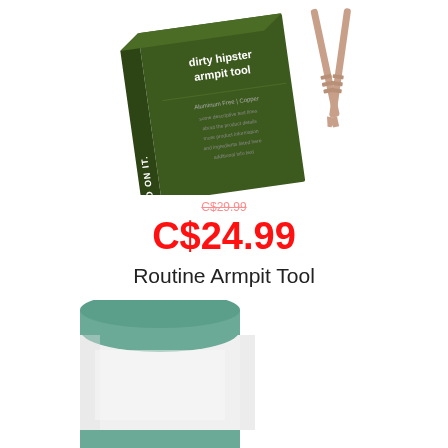[Figure (photo): Product photo showing a dark olive green box labeled 'dirty hipster armpit tool' with 'PUT A BIRD ON IT.' on the side, alongside a pair of rose gold metal tweezers/applicator tool]
C$24.99
Routine Armpit Tool
[Figure (photo): Product photo showing a white cylindrical deodorant container with teal/green accents, partially visible at the bottom of the page]